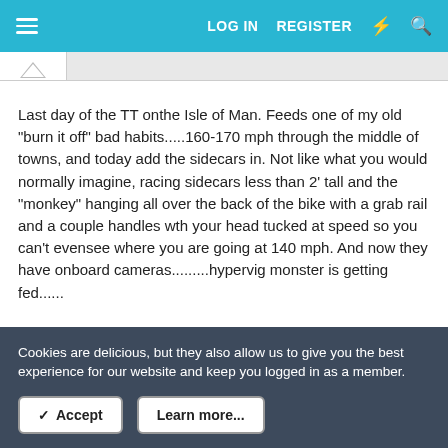LOG IN  REGISTER
Last day of the TT onthe Isle of Man. Feeds one of my old "burn it off" bad habits.....160-170 mph through the middle of towns, and today add the sidecars in. Not like what you would normally imagine, racing sidecars less than 2' tall and the "monkey" hanging all over the back of the bike with a grab rail and a couple handles wth your head tucked at speed so you can't evensee where you are going at 140 mph. And now they have onboard cameras.........hypervig monster is getting fed......
Reply
OliveJewel, LuckiLee, enough and 1 other person
Cookies are delicious, but they also allow us to give you the best experience for our website and keep you logged in as a member.
Accept
Learn more...